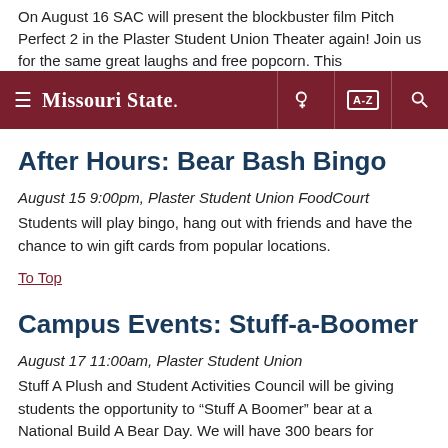On August 16 SAC will present the blockbuster film Pitch Perfect 2 in the Plaster Student Union Theater again! Join us for the same great laughs and free popcorn. This
Missouri State. [nav bar with hamburger, key icon, A-Z, search]
After Hours: Bear Bash Bingo
August 15 9:00pm, Plaster Student Union FoodCourt
Students will play bingo, hang out with friends and have the chance to win gift cards from popular locations.
To Top
Campus Events: Stuff-a-Boomer
August 17 11:00am, Plaster Student Union
Stuff A Plush and Student Activities Council will be giving students the opportunity to "Stuff A Boomer" bear at a National Build A Bear Day. We will have 300 bears for